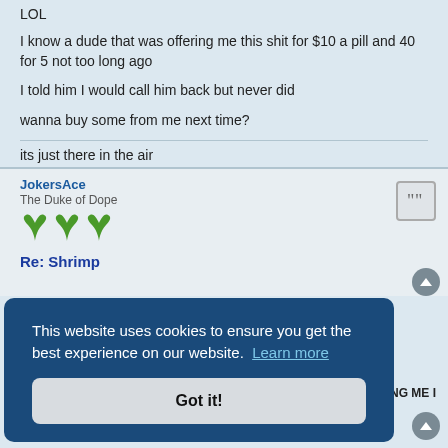LOL
I know a dude that was offering me this shit for $10 a pill and 40 for 5 not too long ago
I told him I would call him back but never did
wanna buy some from me next time?
its just there in the air
JokersAce
The Duke of Dope
Re: Shrimp
This website uses cookies to ensure you get the best experience on our website. Learn more
Got it!